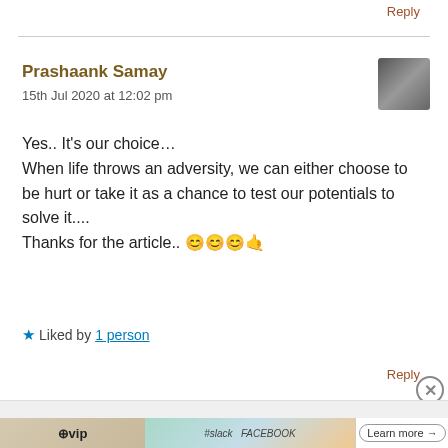Reply
Prashaank Samay
15th Jul 2020 at 12:02 pm
Yes.. It's our choice…
When life throws an adversity, we can either choose to be hurt or take it as a chance to test our potentials to solve it....
Thanks for the article.. 😊😊😊🤙
★ Liked by 1 person
Reply
Advertisements
[Figure (screenshot): WordPress VIP advertisement banner with logos for slack, Facebook, and a Learn more button]